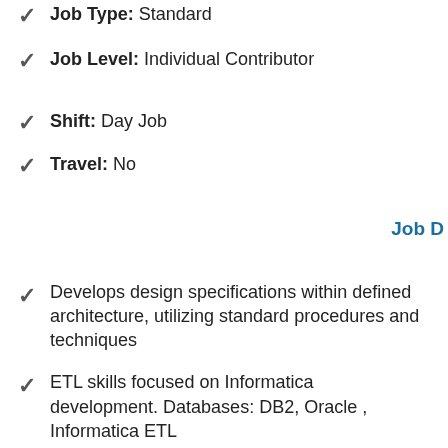Job Level: Individual Contributor
Shift: Day Job
Travel: No
Job D
Develops design specifications within defined architecture, utilizing standard procedures and techniques
ETL skills focused on Informatica development. Databases: DB2, Oracle , Informatica ETL